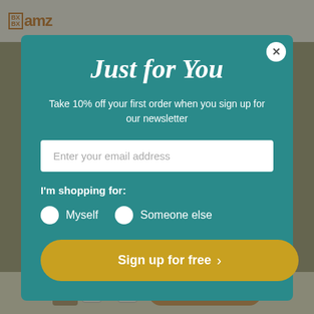[Figure (screenshot): E-commerce website header with logo 'amz' in orange with a grid icon, hamburger menu, search and cart icons on a light background]
Just for You
Take 10% off your first order when you sign up for our newsletter
Enter your email address
I'm shopping for:
Myself
Someone else
Sign up for free
[Figure (screenshot): E-commerce bottom bar with product image, quantity controls (-, 1, +), and orange ADD TO CART button]